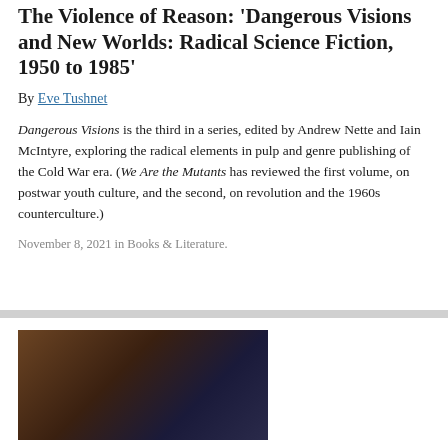The Violence of Reason: 'Dangerous Visions and New Worlds: Radical Science Fiction, 1950 to 1985'
By Eve Tushnet
Dangerous Visions is the third in a series, edited by Andrew Nette and Iain McIntyre, exploring the radical elements in pulp and genre publishing of the Cold War era. (We Are the Mutants has reviewed the first volume, on postwar youth culture, and the second, on revolution and the 1960s counterculture.)
November 8, 2021 in Books & Literature.
[Figure (photo): A bronze or dark metal sculpture appearing to show fantastical creatures with wings, with a dark blue/night sky background. Partially visible, cropped at bottom of page.]